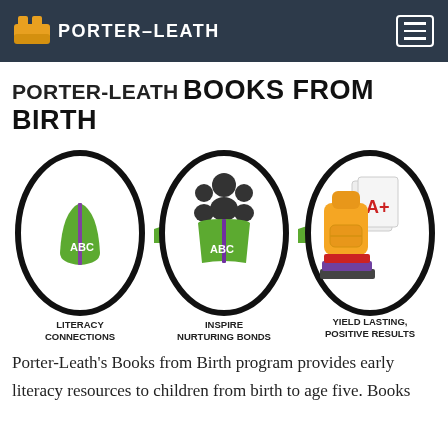PORTER-LEATH
PORTER-LEATH BOOKS FROM BIRTH
[Figure (infographic): Three oval icons in a row connected by green arrows. First oval: green open ABC book icon labeled 'LITERACY CONNECTIONS'. Second oval: people reading an ABC book icon labeled 'INSPIRE NURTURING BONDS'. Third oval: orange backpack with A+ papers and stacked books labeled 'YIELD LASTING, POSITIVE RESULTS'.]
Porter-Leath's Books from Birth program provides early literacy resources to children from birth to age five. Books